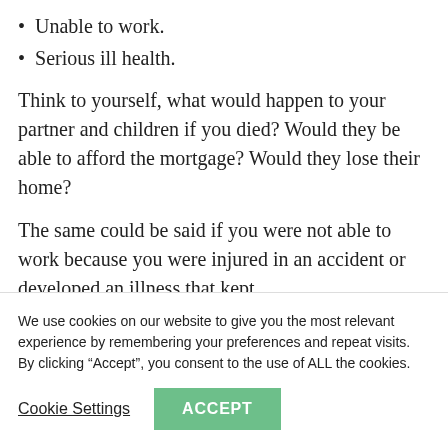Unable to work.
Serious ill health.
Think to yourself, what would happen to your partner and children if you died? Would they be able to afford the mortgage? Would they lose their home?
The same could be said if you were not able to work because you were injured in an accident or developed an illness that kept
We use cookies on our website to give you the most relevant experience by remembering your preferences and repeat visits. By clicking “Accept”, you consent to the use of ALL the cookies.